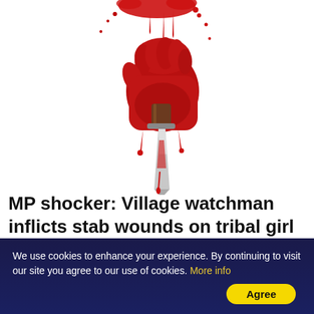[Figure (illustration): Illustration of a bloody hand gripping a knife with blood dripping, on white background]
MP shocker: Village watchman inflicts stab wounds on tribal girl over refusal to marry him
We use cookies to enhance your experience. By continuing to visit our site you agree to our use of cookies. More info